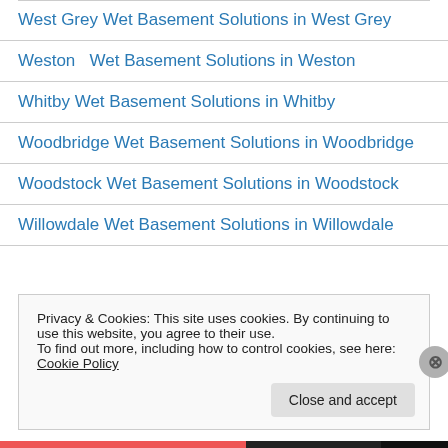West Grey Wet Basement Solutions in West Grey
Weston  Wet Basement Solutions in Weston
Whitby Wet Basement Solutions in Whitby
Woodbridge Wet Basement Solutions in Woodbridge
Woodstock Wet Basement Solutions in Woodstock
Willowdale Wet Basement Solutions in Willowdale
Privacy & Cookies: This site uses cookies. By continuing to use this website, you agree to their use. To find out more, including how to control cookies, see here: Cookie Policy
Close and accept